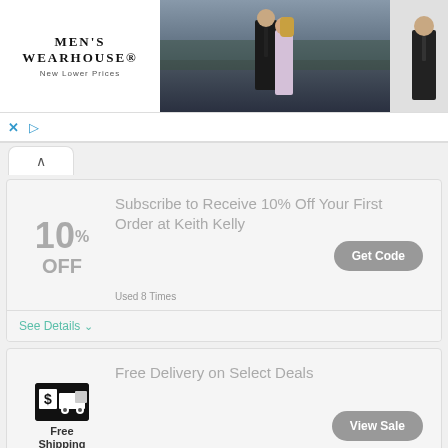[Figure (photo): Men's Wearhouse advertisement banner with logo, couple in formalwear, solo man in suit, and RENT button]
Subscribe to Receive 10% Off Your First Order at Keith Kelly
Used 8 Times
See Details
Free Delivery on Select Deals
Used 2 Times
See Details